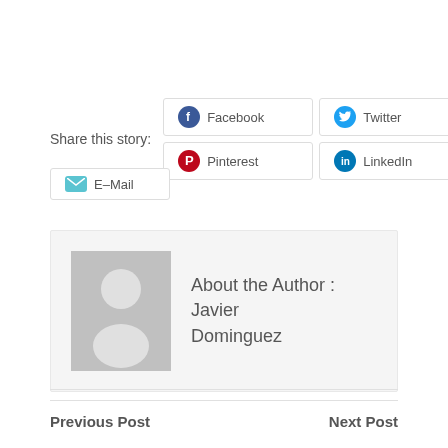Share this story:
Facebook
Twitter
Pinterest
LinkedIn
E-Mail
[Figure (illustration): Author avatar placeholder — grey silhouette of a person on grey background]
About the Author : Javier Dominguez
Previous Post
Next Post